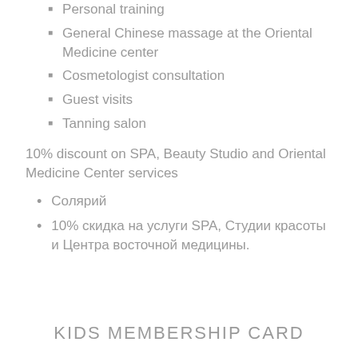Personal training
General Chinese massage at the Oriental Medicine center
Cosmetologist consultation
Guest visits
Tanning salon
10% discount on SPA, Beauty Studio and Oriental Medicine Center services
Солярий
10% скидка на услуги SPA, Студии красоты и Центра восточной медицины.
KIDS MEMBERSHIP CARD